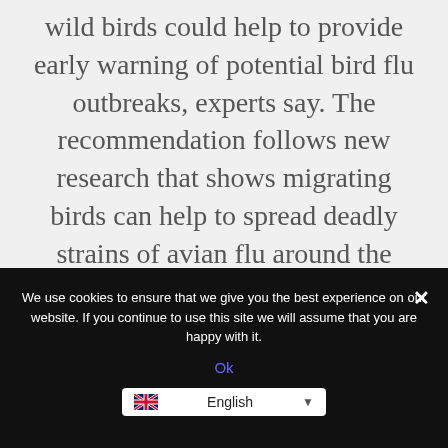wild birds could help to provide early warning of potential bird flu outbreaks, experts say. The recommendation follows new research that shows migrating birds can help to spread deadly strains of avian flu around the world. Some strains of bird flu viruses are highly lethal in birds they infect and [...]
We use cookies to ensure that we give you the best experience on our website. If you continue to use this site we will assume that you are happy with it.
Ok
English